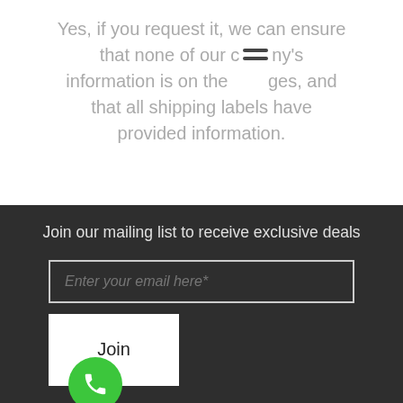Yes, if you request it, we can ensure that none of our company's information is on the packages, and that all shipping labels have provided information.
Join our mailing list to receive exclusive deals